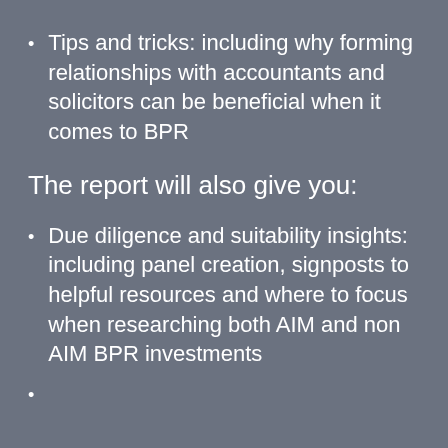Tips and tricks: including why forming relationships with accountants and solicitors can be beneficial when it comes to BPR
The report will also give you:
Due diligence and suitability insights: including panel creation, signposts to helpful resources and where to focus when researching both AIM and non AIM BPR investments